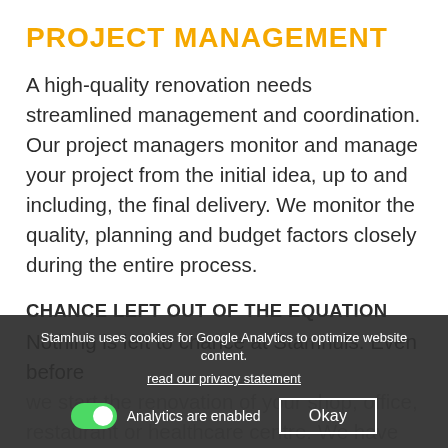PROJECT MANAGEMENT
A high-quality renovation needs streamlined management and coordination. Our project managers monitor and manage your project from the initial idea, up to and including, the final delivery. We monitor the quality, planning and budget factors closely during the entire process.
CHANCE LEFT OUT OF THE EQUATION
Nothing is left to chance at Stamhuis. Even before we start the renovation of your shop, office, restaurant or healthcare centre. We have already planned and discussed everything in detail. We achieve amazing results again and again because we prepare every project down to the
Stamhuis uses cookies for Google Analytics to optimize website content.
read our privacy statement
Analytics are enabled   Okay